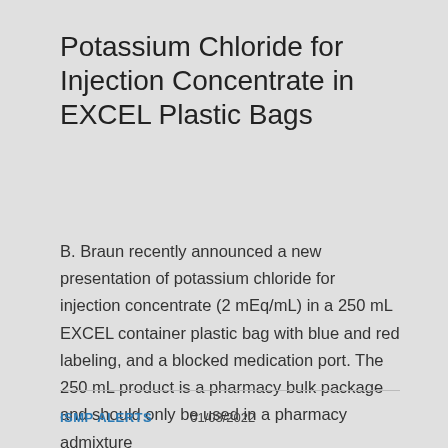Potassium Chloride for Injection Concentrate in EXCEL Plastic Bags
B. Braun recently announced a new presentation of potassium chloride for injection concentrate (2 mEq/mL) in a 250 mL EXCEL container plastic bag with blue and red labeling, and a blocked medication port. The 250 mL product is a pharmacy bulk package and should only be used in a pharmacy admixture
ISMP ALERTS   01/03/2022